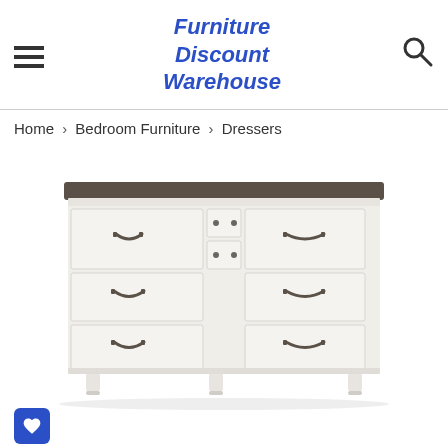Furniture Discount Warehouse
Home > Bedroom Furniture > Dressers
[Figure (photo): White dresser with dark grey top, featuring 7 drawers with dark metal bin pulls and two small center drawers, standing on decorative turned feet.]
[Figure (other): Blue wishlist/heart icon button]